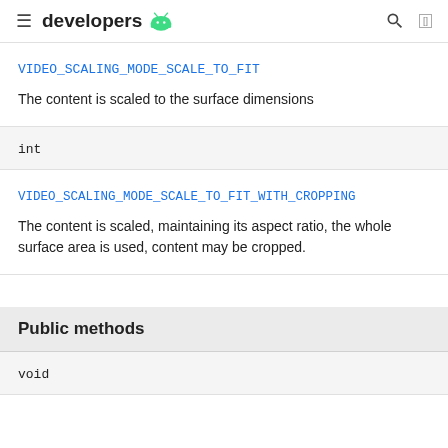≡ developers 🤖
VIDEO_SCALING_MODE_SCALE_TO_FIT
The content is scaled to the surface dimensions
int
VIDEO_SCALING_MODE_SCALE_TO_FIT_WITH_CROPPING
The content is scaled, maintaining its aspect ratio, the whole surface area is used, content may be cropped.
Public methods
void